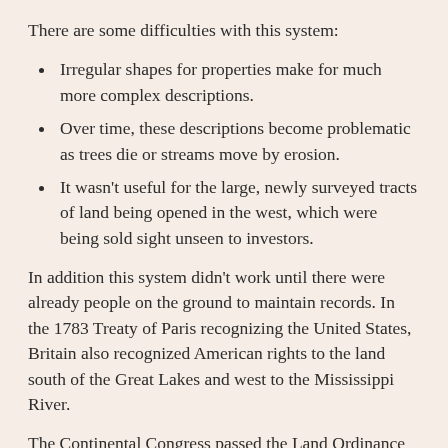There are some difficulties with this system:
Irregular shapes for properties make for much more complex descriptions.
Over time, these descriptions become problematic as trees die or streams move by erosion.
It wasn't useful for the large, newly surveyed tracts of land being opened in the west, which were being sold sight unseen to investors.
In addition this system didn't work until there were already people on the ground to maintain records. In the 1783 Treaty of Paris recognizing the United States, Britain also recognized American rights to the land south of the Great Lakes and west to the Mississippi River.
The Continental Congress passed the Land Ordinance of 1785 and then the Northwest Ordinance in 1787 to control the survey, sale, and settling of the new lands. The original 13 colonies donated their western lands to the new Union, for the purpose of giving land for new states. These include the lands that formed the Northern Territory, Kentucky, Tennessee, Alabama, and...